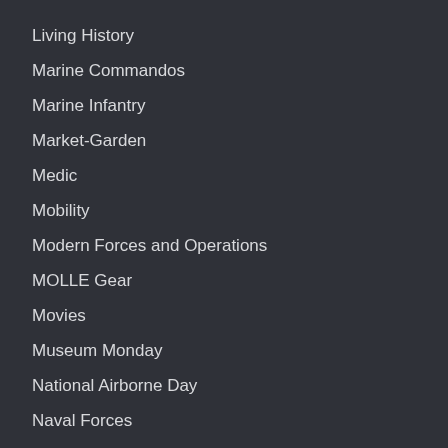Living History
Marine Commandos
Marine Infantry
Market-Garden
Medic
Mobility
Modern Forces and Operations
MOLLE Gear
Movies
Museum Monday
National Airborne Day
Naval Forces
Netherlands Liberation 75
New Product
Night Vision Devices